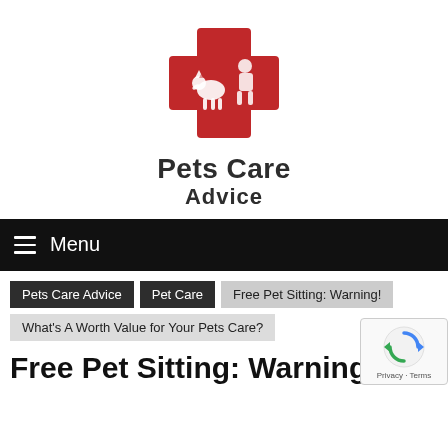[Figure (logo): Pets Care Advice logo: red cross/shield with silhouettes of pets and a person, above bold text 'Pets Care Advice']
≡ Menu
Pets Care Advice > Pet Care > Free Pet Sitting: Warning!
What's A Worth Value for Your Pets Care?
Free Pet Sitting: Warning!